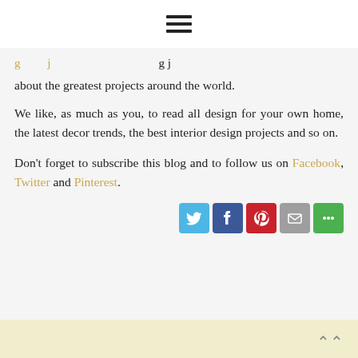☰ (hamburger menu icon)
about the greatest projects around the world.
We like, as much as you, to read all design for your own home, the latest decor trends, the best interior design projects and so on.
Don't forget to subscribe this blog and to follow us on Facebook, Twitter and Pinterest.
[Figure (infographic): Social share buttons: Twitter (blue), Facebook (dark blue), Pinterest (red), Email (gray), More (green)]